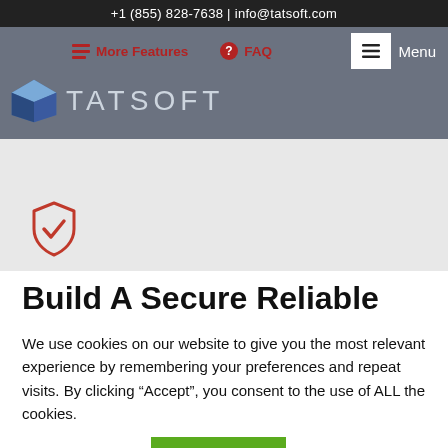+1 (855) 828-7638 | info@tatsoft.com
[Figure (screenshot): Navigation bar with More Features and FAQ links, TATSOFT logo with blue cube, and hamburger menu button]
[Figure (illustration): Red shield with checkmark icon on gray background]
Build A Secure Reliable
We use cookies on our website to give you the most relevant experience by remembering your preferences and repeat visits. By clicking “Accept”, you consent to the use of ALL the cookies.
Cookie settings  ACCEPT